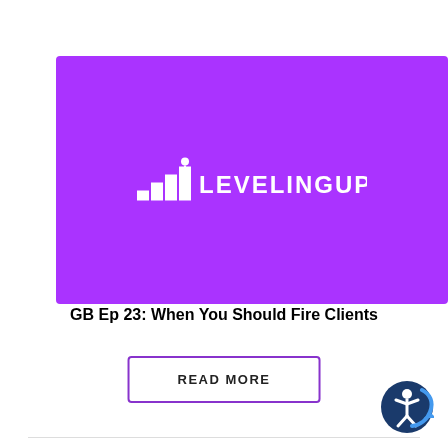[Figure (logo): Purple rectangular thumbnail with white LevelingUp logo in the center. Logo shows ascending bar chart icon with a figure on top, followed by text LEVELINGUP.]
GB Ep 23: When You Should Fire Clients
READ MORE